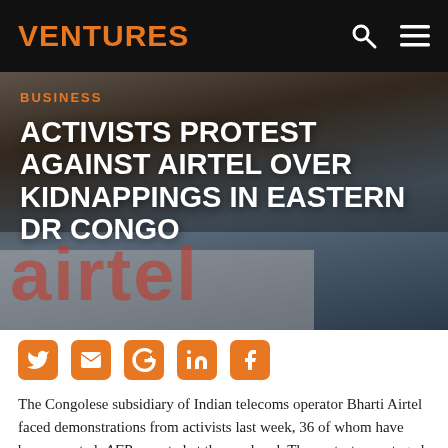VENTURES
[Figure (photo): A worker on a ladder working on a large Airtel sign/logo on a building facade. The Airtel logo letters are visible in red against a light background.]
BUSINESS
ACTIVISTS PROTEST AGAINST AIRTEL OVER KIDNAPPINGS IN EASTERN DR CONGO
[Figure (other): Social sharing icons row: Twitter, Email, Google+, LinkedIn, Facebook — all in orange square buttons]
The Congolese subsidiary of Indian telecoms operator Bharti Airtel faced demonstrations from activists last week, 36 of whom have been arrested, AFP reported at the weekend. The protest was staged by the civil group, Lutte pour le Changement (Lucha) in Goma, in the Democratic Republic of Congo (DRC).